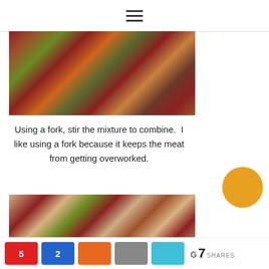≡
[Figure (photo): Ground meat mixture in a bowl with chopped herbs and onions before mixing]
Using a fork, stir the mixture to combine.  I like using a fork because it keeps the meat from getting overworked.
[Figure (photo): Ground meat mixture in a bowl after being mixed with a fork, showing combined texture]
5  2  [social share buttons]  G 7 SHARES